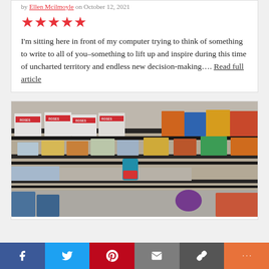by [author link] on October 12, 2021
[Figure (other): Five red star rating icons]
I'm sitting here in front of my computer trying to think of something to write to all of you–something to lift up and inspire during this time of uncharted territory and endless new decision-making…. Read full article
[Figure (photo): Photo of grocery store shelves stocked with food products including Roses brand boxes and other packaged goods. Lower shelves appear partially empty.]
Social share bar: Facebook, Twitter, Pinterest, Email, Link, More